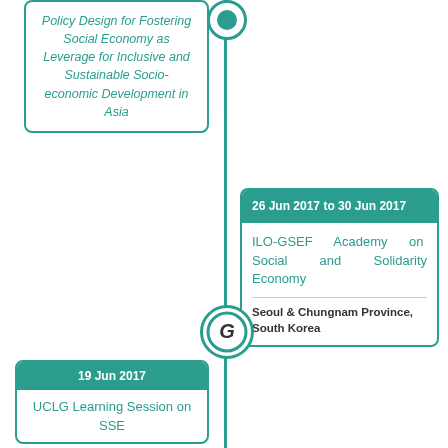[Figure (infographic): Timeline with vertical teal line and circle nodes connecting event cards on alternating left and right sides]
Policy Design for Fostering Social Economy as Leverage for Inclusive and Sustainable Socio-economic Development in Asia
26 Jun 2017 to 30 Jun 2017
ILO-GSEF Academy on Social and Solidarity Economy
Seoul & Chungnam Province, South Korea
19 Jun 2017
UCLG Learning Session on SSE